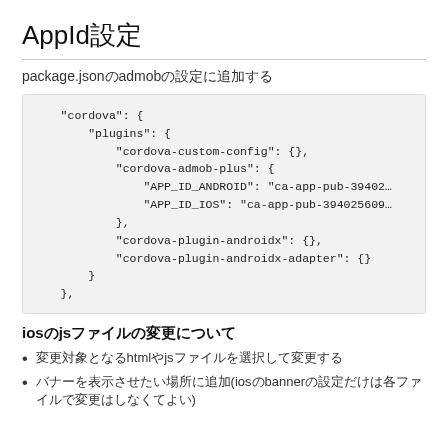AppId設定
package.jsonのadmobの設定に追加する
"cordova": {
    "plugins": {
        "cordova-custom-config": {},
        "cordova-admob-plus": {
            "APP_ID_ANDROID": "ca-app-pub-39402...
            "APP_ID_IOS": "ca-app-pub-394025609...
        },
        "cordova-plugin-androidx": {},
        "cordova-plugin-androidx-adapter": {}
    }
},
iosのjsファイルの変更について
変更対象となるhtmlやjsファイルを選択して変更する
バナーを表示させたい場所に追加(iosのbannerの設定だけは各ファイルで変更はしなくてよい)